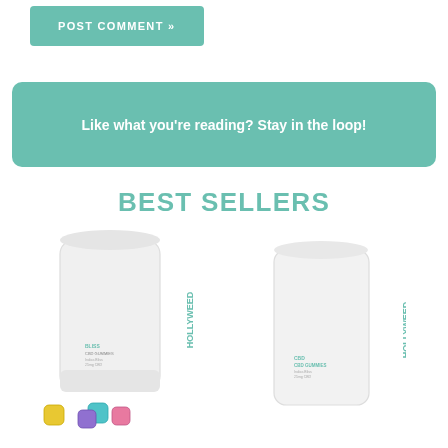POST COMMENT »
Like what you're reading? Stay in the loop!
BEST SELLERS
[Figure (photo): Two Hollyweed CBD product packages: left is a white stand-up pouch with colorful gummy bear candies in front, right is a white rectangular flat pouch, both branded with HOLLYWEED in teal text.]